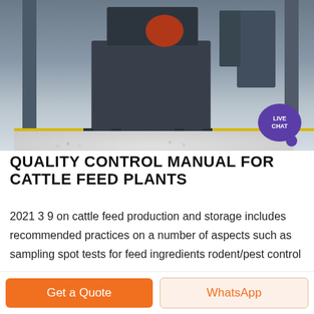[Figure (photo): Industrial cattle feed pellet mill machine in a factory setting, with large machinery, metal columns, yellow floor line, and white pellets on the floor. A purple 'LIVE CHAT' speech bubble badge appears in the lower right of the image.]
QUALITY CONTROL MANUAL FOR CATTLE FEED PLANTS
2021 3 9 on cattle feed production and storage includes recommended practices on a number of aspects such as sampling spot tests for feed ingredients rodent/pest control production operations feed formulation methods pelleting
Get a Quote
WhatsApp